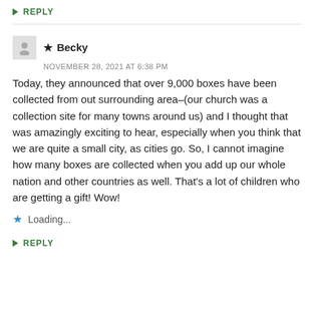↳ REPLY
★ Becky
NOVEMBER 28, 2021 AT 6:38 PM
Today, they announced that over 9,000 boxes have been collected from out surrounding area–(our church was a collection site for many towns around us) and I thought that was amazingly exciting to hear, especially when you think that we are quite a small city, as cities go. So, I cannot imagine how many boxes are collected when you add up our whole nation and other countries as well. That's a lot of children who are getting a gift! Wow!
Loading...
↳ REPLY